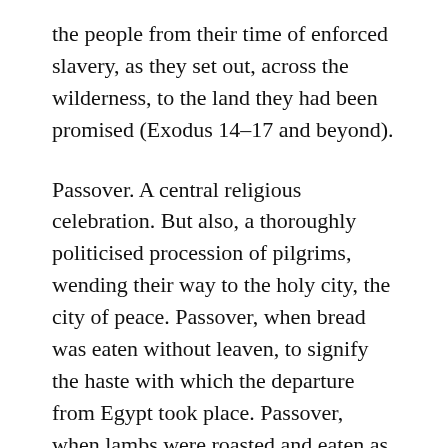the people from their time of enforced slavery, as they set out, across the wilderness, to the land they had been promised (Exodus 14–17 and beyond).
Passover. A central religious celebration. But also, a thoroughly politicised procession of pilgrims, wending their way to the holy city, the city of peace. Passover, when bread was eaten without leaven, to signify the haste with which the departure from Egypt took place. Passover, when lambs were roasted and eaten as a sign of that liberation, when bitter herbs were sprinkled eaten as a reminder of the bitterness of slavery. Passover, when the intervention of the divine into the social and political situation of those ancient